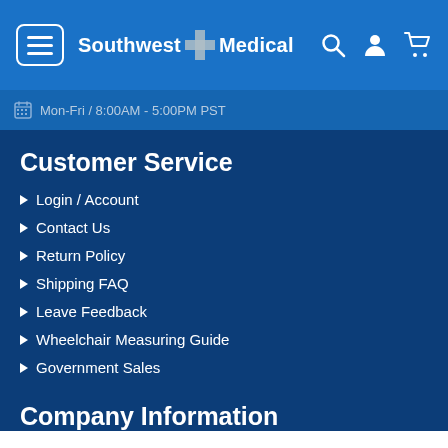Southwest Medical
Mon-Fri / 8:00AM - 5:00PM PST
Customer Service
Login / Account
Contact Us
Return Policy
Shipping FAQ
Leave Feedback
Wheelchair Measuring Guide
Government Sales
Company Information